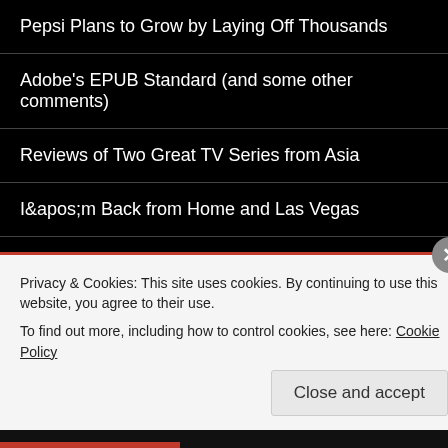Pepsi Plans to Grow by Laying Off Thousands
Adobe's EPUB Standard (and some other comments)
Reviews of Two Great TV Series from Asia
I&apos;m Back from Home and Las Vegas
CATEGORIES
Select Category
BLOGROLL
Privacy & Cookies: This site uses cookies. By continuing to use this website, you agree to their use.
To find out more, including how to control cookies, see here: Cookie Policy
Close and accept